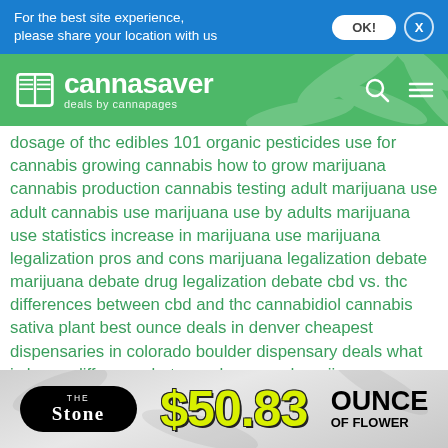For the best site experience, please share your location with us
[Figure (logo): Cannasaver logo with book icon — deals by cannapages — on green cannabis leaf background header]
dosage of thc edibles 101 organic pesticides use for cannabis growing cannabis how to grow marijuana cannabis production cannabis testing adult marijuana use adult cannabis use marijuana use by adults marijuana use statistics increase in marijuana use marijuana legalization pros and cons marijuana legalization debate marijuana debate drug legalization debate cbd vs. thc differences between cbd and thc cannabidiol cannabis sativa plant best ounce deals in denver cheapest dispensaries in colorado boulder dispensary deals what is hemp difference between hemp and marijuana cannabis sativa industrial hemp uses many uses of the hemp plant cbd for dogs cbd for pets cannabis and pets cbd for dog seizures pet cbd
[Figure (infographic): The Stone dispensary advertisement showing $50.83 ounce of flower deal on grey background]